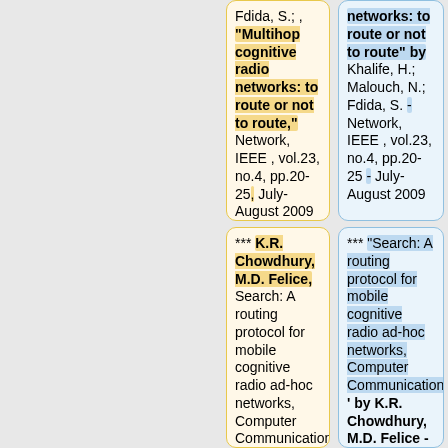Fdida, S.; , "Multihop cognitive radio networks: to route or not to route," Network, IEEE , vol.23, no.4, pp.20-25, July-August 2009
*** "Search: A routing protocol for mobile cognitive radio ad-hoc networks, Computer Communications' ' by K.R. Chowdhury, M.D. Felice - Volume 32, Issue 18, Cognitive Radio...
*** K.R. Chowdhury, M.D. Felice, Search: A routing protocol for mobile cognitive radio ad-hoc networks, Computer Communications, Volume 32, Issue 18, Cognitive Radio...
networks: to route or not to route" by Khalife, H.; Malouch, N.; Fdida, S. - Network, IEEE , vol.23, no.4, pp.20-25 - July-August 2009